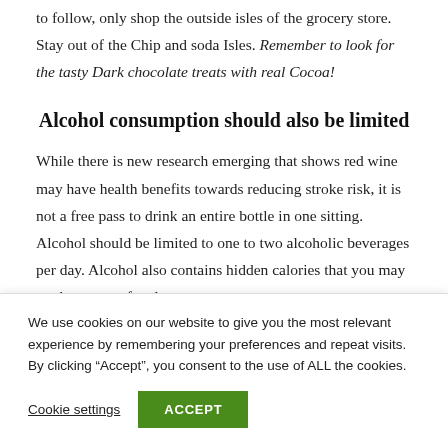to follow, only shop the outside isles of the grocery store. Stay out of the Chip and soda Isles. Remember to look for the tasty Dark chocolate treats with real Cocoa!
Alcohol consumption should also be limited
While there is new research emerging that shows red wine may have health benefits towards reducing stroke risk, it is not a free pass to drink an entire bottle in one sitting. Alcohol should be limited to one to two alcoholic beverages per day. Alcohol also contains hidden calories that you may not be aware of and as you
We use cookies on our website to give you the most relevant experience by remembering your preferences and repeat visits. By clicking “Accept”, you consent to the use of ALL the cookies.